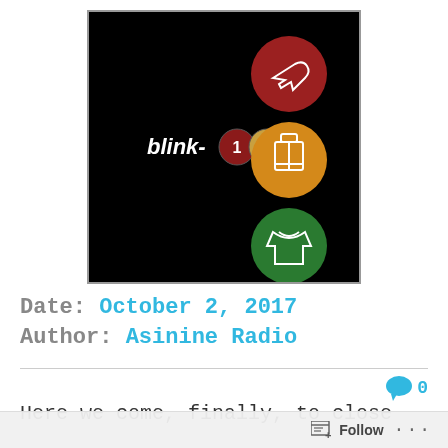[Figure (illustration): blink-182 album art on black background with colored stoplight circles: red circle with airplane icon, orange circle with luggage icon, green circle with jacket icon, and 'blink-182' text with numbered circles]
Date: October 2, 2017
Author: Asinine Radio
Here we come, finally, to close